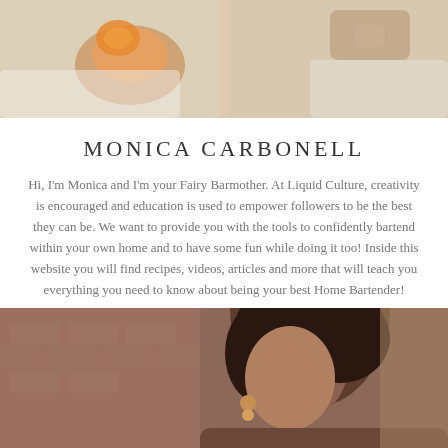[Figure (photo): Photo of hands holding a cocktail glass with an orange/amber colored drink, white background clothing visible]
MONICA CARBONELL
Hi, I'm Monica and I'm your Fairy Barmother. At Liquid Culture, creativity is encouraged and education is used to empower followers to be the best they can be. We want to provide you with the tools to confidently bartend within your own home and to have some fun while doing it too! Inside this website you will find recipes, videos, articles and more that will teach you everything you need to know about being your best Home Bartender!
[Figure (photo): Photo of Monica Carbonell, a woman with dark curly hair, looking to the side, with a brick wall background]